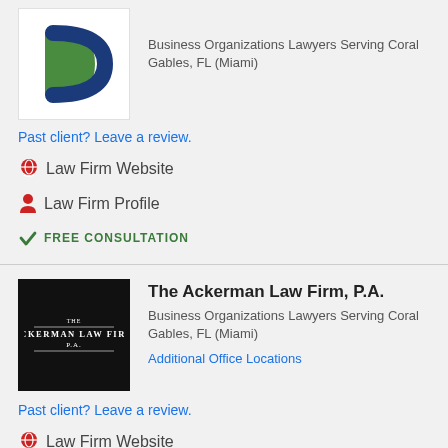[Figure (logo): Green and blue D-shaped law firm logo on white background]
Business Organizations Lawyers Serving Coral Gables, FL (Miami)
Past client? Leave a review.
Law Firm Website
Law Firm Profile
FREE CONSULTATION
[Figure (logo): The Ackerman Law Firm P.A. logo on black background]
The Ackerman Law Firm, P.A.
Business Organizations Lawyers Serving Coral Gables, FL (Miami)
Additional Office Locations
Past client? Leave a review.
Law Firm Website